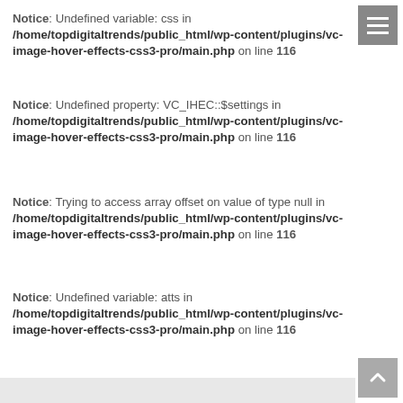Notice: Undefined variable: css in /home/topdigitaltrends/public_html/wp-content/plugins/vc-image-hover-effects-css3-pro/main.php on line 116
Notice: Undefined property: VC_IHEC::$settings in /home/topdigitaltrends/public_html/wp-content/plugins/vc-image-hover-effects-css3-pro/main.php on line 116
Notice: Trying to access array offset on value of type null in /home/topdigitaltrends/public_html/wp-content/plugins/vc-image-hover-effects-css3-pro/main.php on line 116
Notice: Undefined variable: atts in /home/topdigitaltrends/public_html/wp-content/plugins/vc-image-hover-effects-css3-pro/main.php on line 116